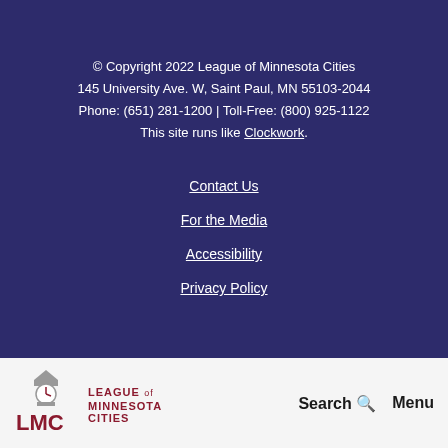© Copyright 2022 League of Minnesota Cities
145 University Ave. W, Saint Paul, MN 55103-2044
Phone: (651) 281-1200 | Toll-Free: (800) 925-1122
This site runs like Clockwork.
Contact Us
For the Media
Accessibility
Privacy Policy
[Figure (logo): LMC League of Minnesota Cities logo with clock tower icon]
Search  Menu